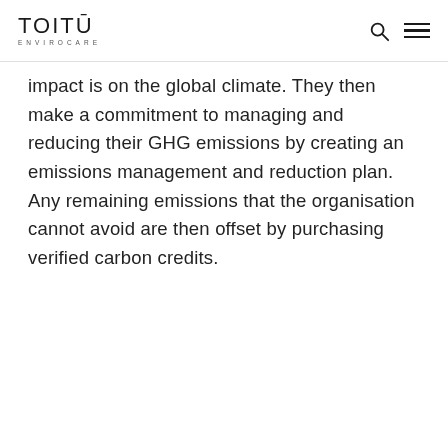TOITŪ ENVIROCARE
impact is on the global climate. They then make a commitment to managing and reducing their GHG emissions by creating an emissions management and reduction plan. Any remaining emissions that the organisation cannot avoid are then offset by purchasing verified carbon credits.